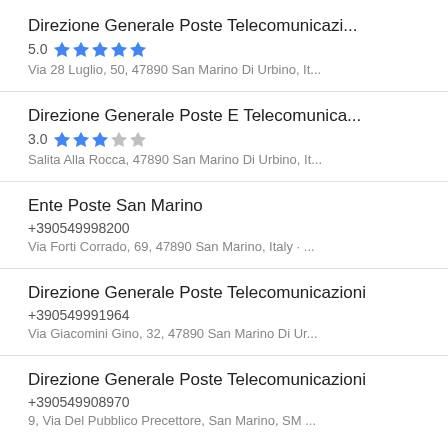Direzione Generale Poste Telecomunicazi...
5.0 ★★★★★
Via 28 Luglio, 50, 47890 San Marino Di Urbino, It...
Direzione Generale Poste E Telecomunica...
3.0 ★★★☆☆
Salita Alla Rocca, 47890 San Marino Di Urbino, It...
Ente Poste San Marino
+390549998200
Via Forti Corrado, 69, 47890 San Marino, Italy · ...
Direzione Generale Poste Telecomunicazioni
+390549991964
Via Giacomini Gino, 32, 47890 San Marino Di Ur...
Direzione Generale Poste Telecomunicazioni
+390549908970
9, Via Del Pubblico Precettore, San Marino, SM ...